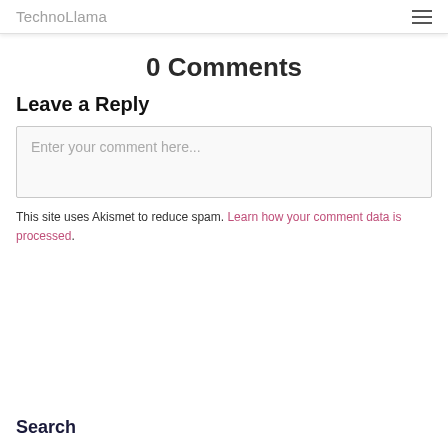TechnoLlama
0 Comments
Leave a Reply
Enter your comment here...
This site uses Akismet to reduce spam. Learn how your comment data is processed.
Search